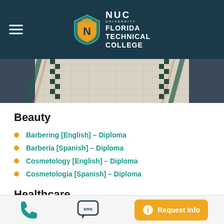NUC University Florida Technical College
[Figure (photo): Aerial or architectural mosaic/tile pattern image, showing decorative tilework with geometric patterns in white, blue, and earth tones]
Beauty
Barbering [English] – Diploma
Barbería [Spanish] – Diploma
Cosmetology [English] – Diploma
Cosmetología [Spanish] – Diploma
Healthcare
Phone | SMS | Request Info